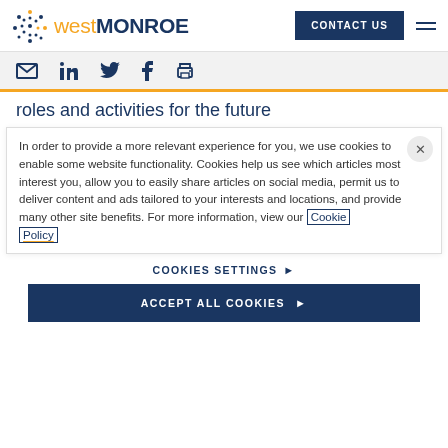west MONROE | CONTACT US
[Figure (logo): West Monroe logo with dotted circular icon, 'west' in gold and 'MONROE' in dark navy]
Social share icons: email, LinkedIn, Twitter, Facebook, print
roles and activities for the future
In order to provide a more relevant experience for you, we use cookies to enable some website functionality. Cookies help us see which articles most interest you, allow you to easily share articles on social media, permit us to deliver content and ads tailored to your interests and locations, and provide many other site benefits. For more information, view our Cookie Policy
COOKIES SETTINGS ▶
ACCEPT ALL COOKIES ▶